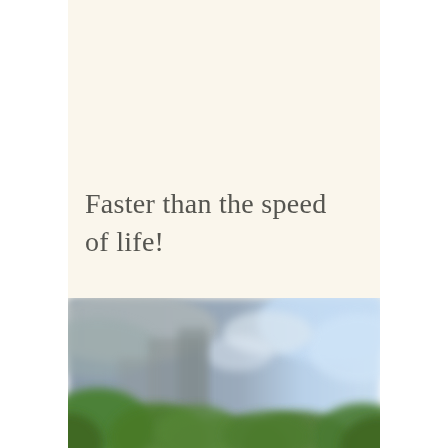Faster than the speed of life!
[Figure (photo): Blurred outdoor photo showing green foliage in the foreground and a cloudy/blue sky in the background, with blurred architectural structures visible in the middle ground.]